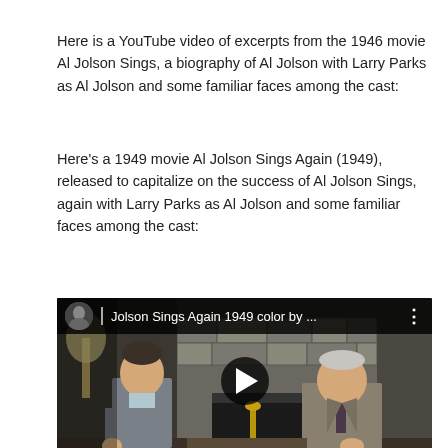Here is a YouTube video of excerpts from the 1946 movie Al Jolson Sings, a biography of Al Jolson with Larry Parks as Al Jolson and some familiar faces among the cast:
Here's a 1949 movie Al Jolson Sings Again (1949), released to capitalize on the success of Al Jolson Sings, again with Larry Parks as Al Jolson and some familiar faces among the cast:
[Figure (screenshot): YouTube video thumbnail for 'Jolson Sings Again 1949 color by ...' showing two men seated near a stone fireplace, one in a grey suit on the left and an older man in a tan suit on the right. A play button is visible in the center.]